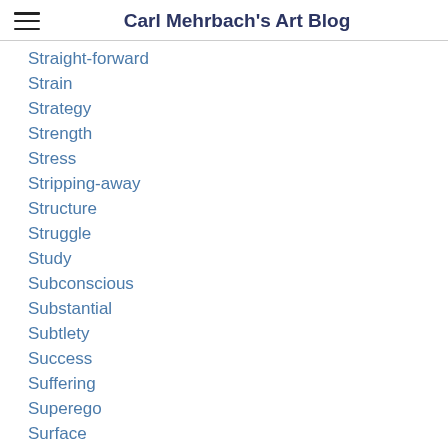Carl Mehrbach's Art Blog
Straight-forward
Strain
Strategy
Strength
Stress
Stripping-away
Structure
Struggle
Study
Subconscious
Substantial
Subtlety
Success
Suffering
Superego
Surface
Surprise
Symbolism